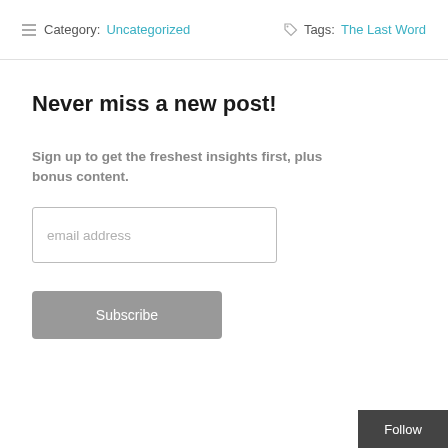Category: Uncategorized   Tags: The Last Word
Never miss a new post!
Sign up to get the freshest insights first, plus bonus content.
email address
Subscribe
Follow